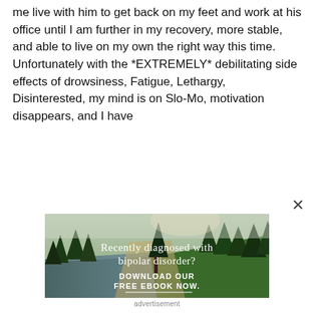me live with him to get back on my feet and work at his office until I am further in my recovery, more stable, and able to live on my own the right way this time. Unfortunately with the *EXTREMELY* debilitating side effects of drowsiness, Fatigue, Lethargy, Disinterested, my mind is on Slo-Mo, motivation disappears, and I have
[Figure (illustration): Advertisement banner showing a forest landscape with a river and pine trees. Text overlay reads 'Recently diagnosed with bipolar disorder? DOWNLOAD OUR FREE EBOOK NOW.' with a white underline below the last line.]
advertisement